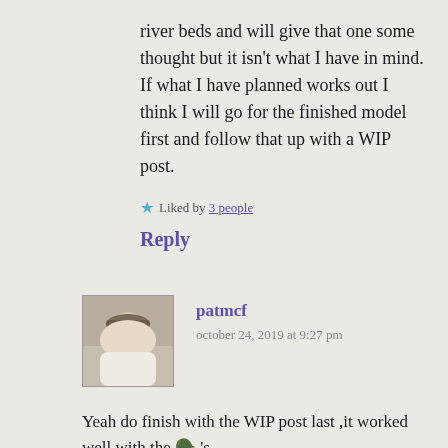river beds and will give that one some thought but it isn't what I have in mind. If what I have planned works out I think I will go for the finished model first and follow that up with a WIP post.
Liked by 3 people
Reply
patmcf
october 24, 2019 at 9:27 pm
Yeah do finish with the WIP post last ,it worked well with the 🪖 's.
Liked by 2 people